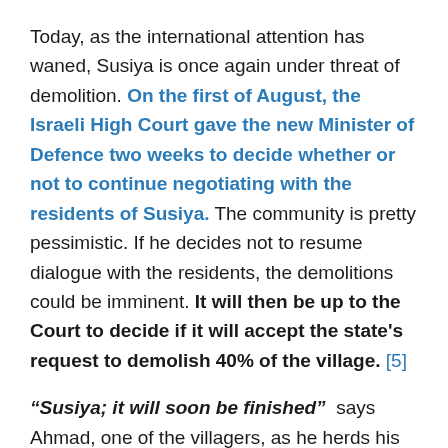Today, as the international attention has waned, Susiya is once again under threat of demolition. On the first of August, the Israeli High Court gave the new Minister of Defence two weeks to decide whether or not to continue negotiating with the residents of Susiya. The community is pretty pessimistic. If he decides not to resume dialogue with the residents, the demolitions could be imminent. It will then be up to the Court to decide if it will accept the state's request to demolish 40% of the village. [5]
“Susiya; it will soon be finished” says Ahmad, one of the villagers, as he herds his sheep to graze on the fields surrounding his village – like every day. Even if he is worried, one cannot read it on his face. Then he turns his attention to tuning in his favourite radio station to listen to,